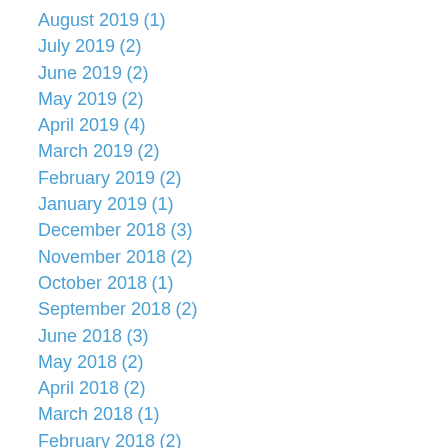August 2019 (1)
July 2019 (2)
June 2019 (2)
May 2019 (2)
April 2019 (4)
March 2019 (2)
February 2019 (2)
January 2019 (1)
December 2018 (3)
November 2018 (2)
October 2018 (1)
September 2018 (2)
June 2018 (3)
May 2018 (2)
April 2018 (2)
March 2018 (1)
February 2018 (2)
January 2018 (1)
December 2017 (2)
November 2017 (2)